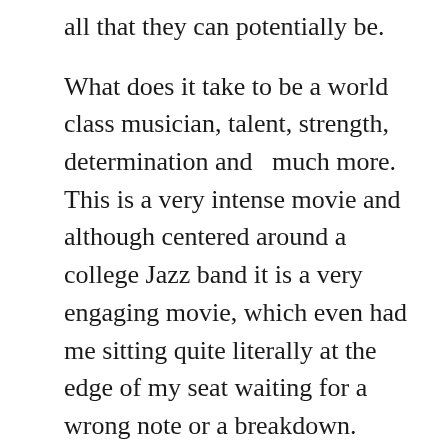all that they can potentially be.
What does it take to be a world class musician, talent, strength, determination and  much more. This is a very intense movie and although centered around a college Jazz band it is a very engaging movie, which even had me sitting quite literally at the edge of my seat waiting for a wrong note or a breakdown.
This is an excellent movie which at time seems almost claustrophobic for the band members. I have absolutely no musical talent, and looking at this, if I had, I would keep it at a purely amateur level. J.K. Simmons who plays Fletcher is a master class in how to be the...